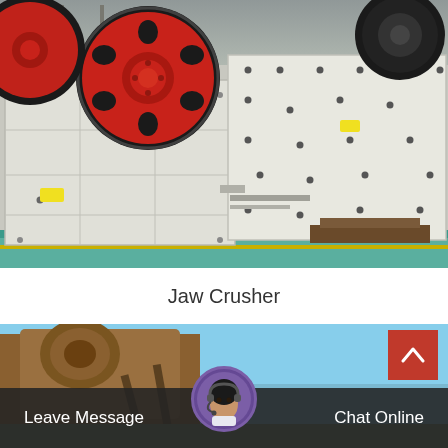[Figure (photo): Industrial jaw crusher machine with large red and black flywheels, white painted body with bolt holes, sitting on a factory floor with green painted concrete.]
Jaw Crusher
[Figure (photo): Partial view of another industrial crushing machine (conveyor/feeder), orange/brown colored metal with blue sky background.]
Leave Message
Chat Online